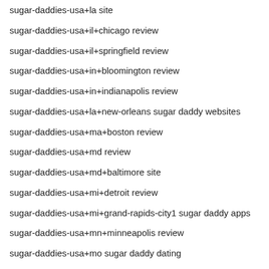sugar-daddies-usa+la site
sugar-daddies-usa+il+chicago review
sugar-daddies-usa+il+springfield review
sugar-daddies-usa+in+bloomington review
sugar-daddies-usa+in+indianapolis review
sugar-daddies-usa+la+new-orleans sugar daddy websites
sugar-daddies-usa+ma+boston review
sugar-daddies-usa+md review
sugar-daddies-usa+md+baltimore site
sugar-daddies-usa+mi+detroit review
sugar-daddies-usa+mi+grand-rapids-city1 sugar daddy apps
sugar-daddies-usa+mn+minneapolis review
sugar-daddies-usa+mo sugar daddy dating
sugar-daddies-usa+nc review
sugar-daddies-usa+nc sugar daddy websites
sugar-daddies-usa+nj dating